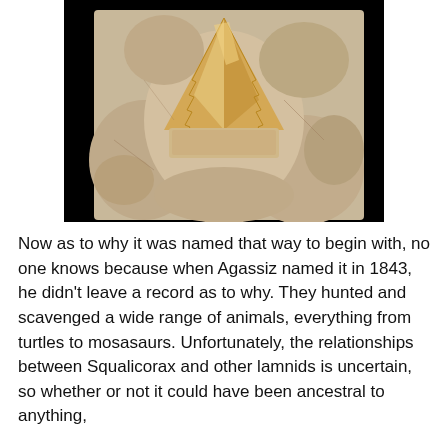[Figure (photo): Photograph of a fossilized shark tooth (Squalicorax) embedded in a light-colored rock matrix, against a black background. The tooth is triangular and amber/cream colored.]
Now as to why it was named that way to begin with, no one knows because when Agassiz named it in 1843, he didn't leave a record as to why. They hunted and scavenged a wide range of animals, everything from turtles to mosasaurs. Unfortunately, the relationships between Squalicorax and other lamnids is uncertain, so whether or not it could have been ancestral to anything,